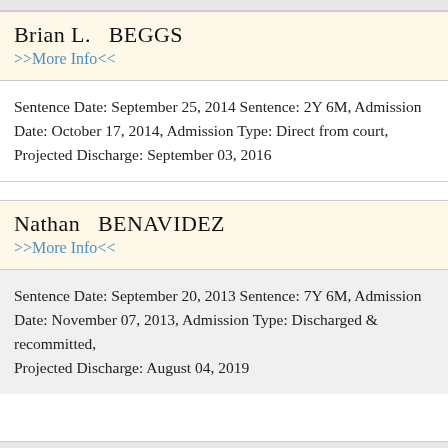Brian L.  BEGGS
>>More Info<<
Sentence Date: September 25, 2014 Sentence: 2Y 6M, Admission Date: October 17, 2014, Admission Type: Direct from court, Projected Discharge: September 03, 2016
Nathan   BENAVIDEZ
>>More Info<<
Sentence Date: September 20, 2013 Sentence: 7Y 6M, Admission Date: November 07, 2013, Admission Type: Discharged & recommitted, Projected Discharge: August 04, 2019